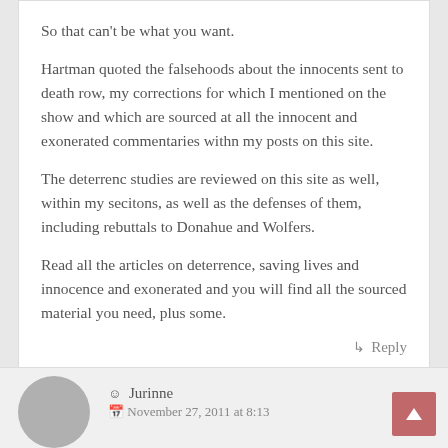So that can't be what you want.
Hartman quoted the falsehoods about the innocents sent to death row, my corrections for which I mentioned on the show and which are sourced at all the innocent and exonerated commentaries withn my posts on this site.
The deterrenc studies are reviewed on this site as well, within my secitons, as well as the defenses of them, including rebuttals to Donahue and Wolfers.
Read all the articles on deterrence, saving lives and innocence and exonerated and you will find all the sourced material you need, plus some.
↳ Reply
Jurinne
November 27, 2011 at 8:13